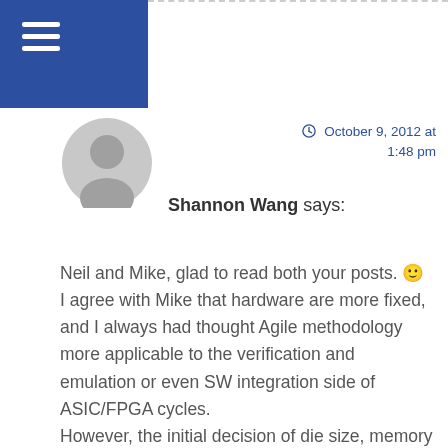Shannon Wang says: October 9, 2012 at 1:48 pm
Neil and Mike, glad to read both your posts. 🙂 I agree with Mike that hardware are more fixed, and I always had thought Agile methodology more applicable to the verification and emulation or even SW integration side of ASIC/FPGA cycles. However, the initial decision of die size, memory sizes are also a best effort of guesstimate. There are times where functional verification can spot an error and shake the ground, (e.g. a larger memory may needed for trade-off for a higher speed in some bottle-neck blocks) , unless a big-enough buffer room has been pre-placed on a first-cut decision.